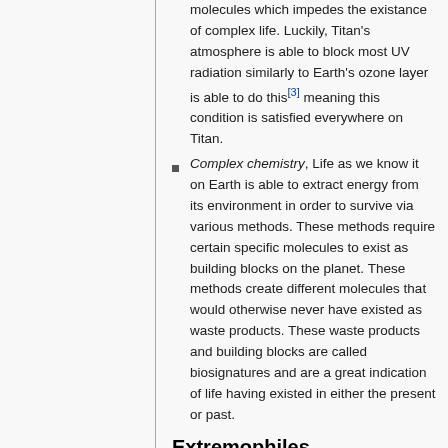molecules which impedes the existance of complex life. Luckily, Titan's atmosphere is able to block most UV radiation similarly to Earth's ozone layer is able to do this[3] meaning this condition is satisfied everywhere on Titan.
Complex chemistry, Life as we know it on Earth is able to extract energy from its environment in order to survive via various methods. These methods require certain specific molecules to exist as building blocks on the planet. These methods create different molecules that would otherwise never have existed as waste products. These waste products and building blocks are called biosignatures and are a great indication of life having existed in either the present or past.
Extremophiles
The organisms on Titan will not be similar to those usually found on earth, but rather be what we call 'extremophiles', organisms that their similarity is considered by...